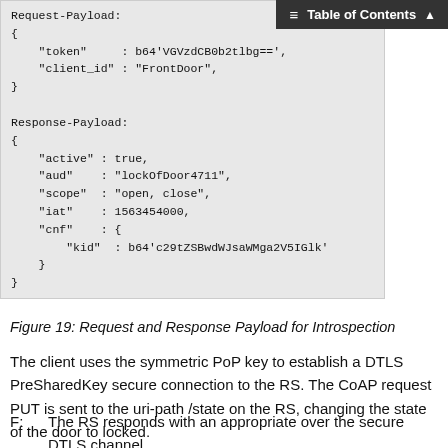[Figure (other): Code block showing Request-Payload and Response-Payload JSON structures for token introspection. Request-Payload contains token and client_id fields. Response-Payload contains active, aud, scope, iat, and cnf (with kid) fields.]
Figure 19: Request and Response Payload for Introspection
The client uses the symmetric PoP key to establish a DTLS PreSharedKey secure connection to the RS. The CoAP request PUT is sent to the uri-path /state on the RS, changing the state of the door to locked.
F:    The RS responds with an appropriate over the secure DTLS channel.